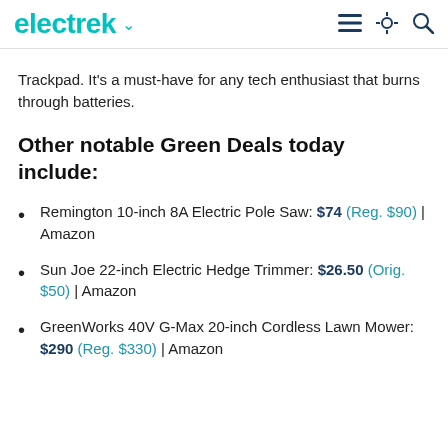electrek
Trackpad. It's a must-have for any tech enthusiast that burns through batteries.
Other notable Green Deals today include:
Remington 10-inch 8A Electric Pole Saw: $74 (Reg. $90) | Amazon
Sun Joe 22-inch Electric Hedge Trimmer: $26.50 (Orig. $50) | Amazon
GreenWorks 40V G-Max 20-inch Cordless Lawn Mower: $290 (Reg. $330) | Amazon